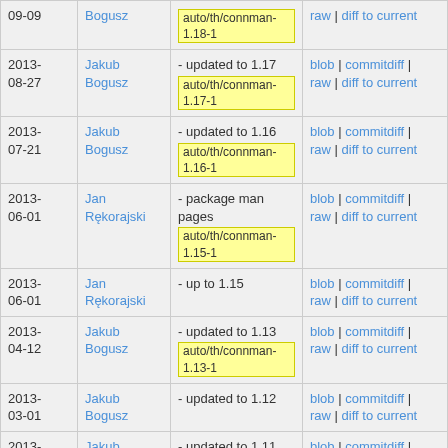| Date | Author | Message | Actions |
| --- | --- | --- | --- |
| 09-09 | Bogusz | auto/th/connman-1.18-1 | raw | diff to current |
| 2013-
08-27 | Jakub
Bogusz | - updated to 1.17
auto/th/connman-1.17-1 | blob | commitdiff |
raw | diff to current |
| 2013-
07-21 | Jakub
Bogusz | - updated to 1.16
auto/th/connman-1.16-1 | blob | commitdiff |
raw | diff to current |
| 2013-
06-01 | Jan
Rękorajski | - package man pages
auto/th/connman-1.15-1 | blob | commitdiff |
raw | diff to current |
| 2013-
06-01 | Jan
Rękorajski | - up to 1.15 | blob | commitdiff |
raw | diff to current |
| 2013-
04-12 | Jakub
Bogusz | - updated to 1.13
auto/th/connman-1.13-1 | blob | commitdiff |
raw | diff to current |
| 2013-
03-01 | Jakub
Bogusz | - updated to 1.12 | blob | commitdiff |
raw | diff to current |
| 2013-
02-01 | Jakub
Bogusz | - updated to 1.11
auto/th/connman-1.11-1 | blob | commitdiff |
raw | diff to current |
| 2013-
01-08 | Jakub
Bogusz | - updated to 1.10 | blob | commitdiff |
raw | diff to current |
| 2012-
11-01 | Jakub
Bogusz | - updated to 1.9 | blob | commitdiff |
raw | diff to current |